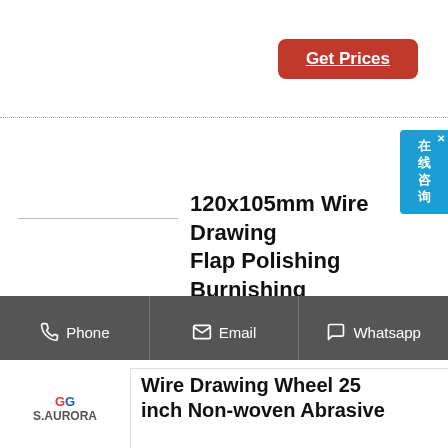[Figure (other): Red 'Get Prices' button at top right]
[Figure (other): Blue side chat widget with Chinese text '在线咨询' and close X button]
120x105mm Wire Drawing Flap Polishing Burnishing
buy 120x105mm wire drawing flap polishing burnishing wheel grinding abrasive tool for the surface treatment of stainless steel, aluminum, copper and other metal products 0.3mm wire: cylindrical grinding wheels - free delivery possible on eligible purchases
[Figure (other): Red 'Get Prices' button at bottom right]
Phone | Email | Whatsapp
[Figure (logo): GG S.AURORA logo]
Wire Drawing Wheel 25 inch Non-woven Abrasive